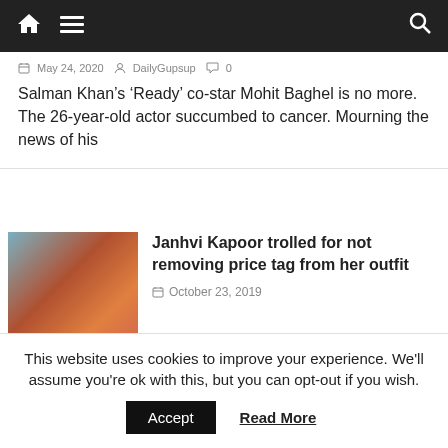Navigation bar with home, menu, and search icons
May 24, 2020  DailyGupsup  0
Salman Khan’s ‘Ready’ co-star Mohit Baghel is no more. The 26-year-old actor succumbed to cancer. Mourning the news of his
[Figure (photo): Photo of Janhvi Kapoor wearing orange and pink outfit]
Janhvi Kapoor trolled for not removing price tag from her outfit
October 23, 2019
[Figure (photo): Radhe: Your Most Wanted Bhai movie poster with Salman Khan]
Salman Announces ‘Radhe: Your Most Wanted Bhai’
This website uses cookies to improve your experience. We'll assume you're ok with this, but you can opt-out if you wish.
Accept  Read More